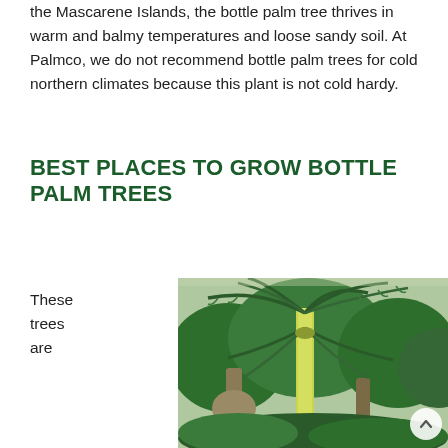the Mascarene Islands, the bottle palm tree thrives in warm and balmy temperatures and loose sandy soil. At Palmco, we do not recommend bottle palm trees for cold northern climates because this plant is not cold hardy.
BEST PLACES TO GROW BOTTLE PALM TREES
These trees are
[Figure (photo): Photograph of bottle palm trees with large green fronds and distinctive swollen trunk bases, growing in a tropical nursery setting.]